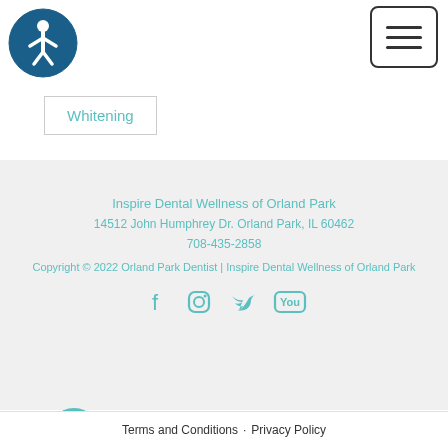[Figure (logo): Accessibility icon: teal circle with white wheelchair/person symbol]
[Figure (other): Hamburger menu button with three horizontal lines]
Whitening
Inspire Dental Wellness of Orland Park
14512 John Humphrey Dr. Orland Park, IL 60462
708-435-2858
Copyright © 2022 Orland Park Dentist | Inspire Dental Wellness of Orland Park
[Figure (other): Social media icons: Facebook, Instagram, Twitter, YouTube in teal]
Terms and Conditions · Privacy Policy